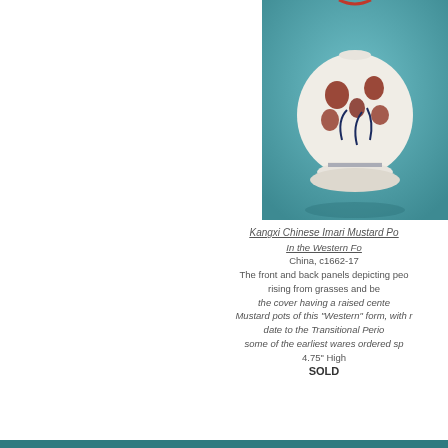[Figure (photo): Photograph of a Kangxi Chinese Imari Mustard Pot on a teal/blue-green background, showing a white porcelain vase with red and blue floral decoration and a pedestal base.]
Kangxi Chinese Imari Mustard Po[t]
In the Western Fo[rm]
China, c1662-17[22]
The front and back panels depicting peo[ny]
rising from grasses and be[low...]
the cover having a raised cente[r...]
Mustard pots of this "Western" form, with r[ound...]
date to the Transitional Perio[d...]
some of the earliest wares ordered sp[ecially...]
4.75" High
SOLD